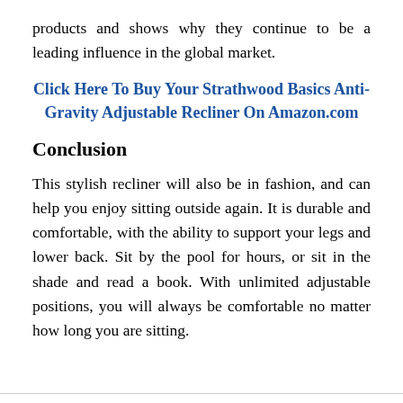products and shows why they continue to be a leading influence in the global market.
Click Here To Buy Your Strathwood Basics Anti-Gravity Adjustable Recliner On Amazon.com
Conclusion
This stylish recliner will also be in fashion, and can help you enjoy sitting outside again. It is durable and comfortable, with the ability to support your legs and lower back. Sit by the pool for hours, or sit in the shade and read a book. With unlimited adjustable positions, you will always be comfortable no matter how long you are sitting.